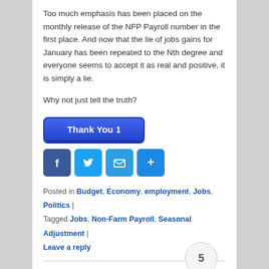Too much emphasis has been placed on the monthly release of the NFP Payroll number in the first place. And now that the lie of jobs gains for January has been repeated to the Nth degree and everyone seems to accept it as real and positive, it is simply a lie.
Why not just tell the truth?
[Figure (other): Thank You 1 button and social sharing icons (Facebook, Twitter, Email, Share)]
Posted in Budget, Economy, employment, Jobs, Politics | Tagged Jobs, Non-Farm Payroll, Seasonal Adjustment | Leave a reply
Georgia's Anemic Job Growth